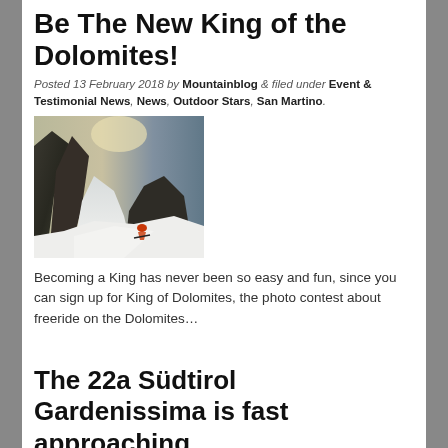Be The New King of the Dolomites!
Posted 13 February 2018 by Mountainblog & filed under Event & Testimonial News, News, Outdoor Stars, San Martino.
[Figure (photo): A dramatic mountain photo showing snow-covered Dolomite peaks with a skier in orange gear descending a steep freeride slope.]
Becoming a King has never been so easy and fun, since you can sign up for King of Dolomites, the photo contest about freeride on the Dolomites…
The 22a Südtirol Gardenissima is fast approaching
Posted 7 February 2018 by Mountainblog & filed under Event & Testimonial